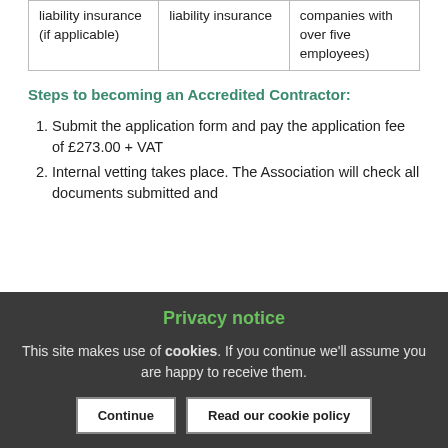| liability insurance (if applicable) | liability insurance | companies with over five employees) |
Steps to becoming an Accredited Contractor:
Submit the application form and pay the application fee of £273.00 + VAT
Internal vetting takes place. The Association will check all documents submitted and
Privacy notice
This site makes use of cookies. If you continue we'll assume you are happy to receive them.
Continue | Read our cookie policy